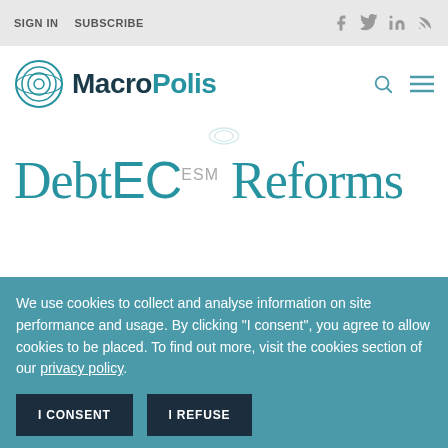SIGN IN   SUBSCRIBE
[Figure (logo): MacroPolis logo with circular globe icon and text MacroPolis in dark navy and teal]
Debt EC ESM Reforms
We use cookies to collect and analyse information on site performance and usage. By clicking "I consent", you agree to allow cookies to be placed. To find out more, visit the cookies section of our privacy policy.
I CONSENT   I REFUSE